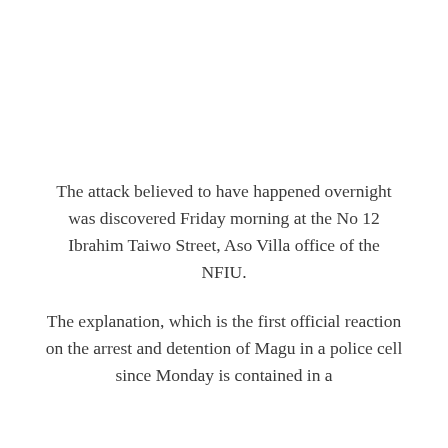The attack believed to have happened overnight was discovered Friday morning at the No 12 Ibrahim Taiwo Street, Aso Villa office of the NFIU.
The explanation, which is the first official reaction on the arrest and detention of Magu in a police cell since Monday is contained in a